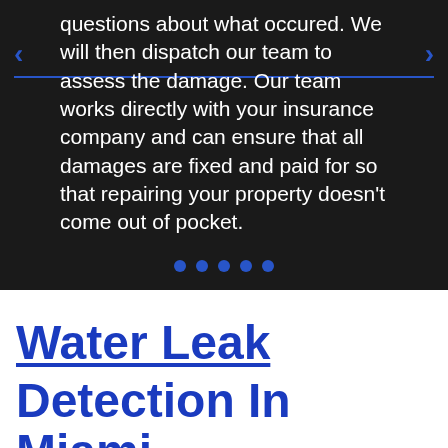questions about what occured. We will then dispatch our team to assess the damage. Our team works directly with your insurance company and can ensure that all damages are fixed and paid for so that repairing your property doesn't come out of pocket.
[Figure (other): Carousel navigation with left and right arrows, blue horizontal line divider, and five dot indicators at the bottom]
Water Leak
Detection In Miami